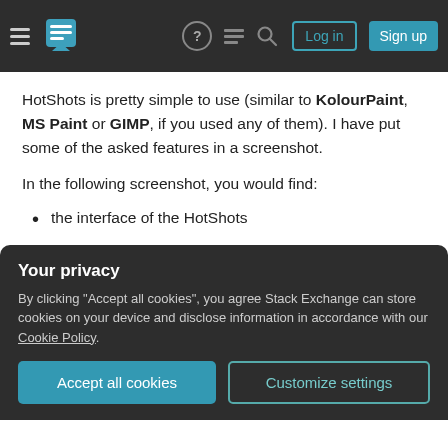Stack Exchange navigation header with hamburger menu, logo, help, chat, search icons, Log in and Sign up buttons
HotShots is pretty simple to use (similar to KolourPaint, MS Paint or GIMP, if you used any of them). I have put some of the asked features in a screenshot.
In the following screenshot, you would find:
the interface of the HotShots
zoom in on "Soft"
custom text written below website's title
Your privacy
By clicking "Accept all cookies", you agree Stack Exchange can store cookies on your device and disclose information in accordance with our Cookie Policy.
Accept all cookies  Customize settings